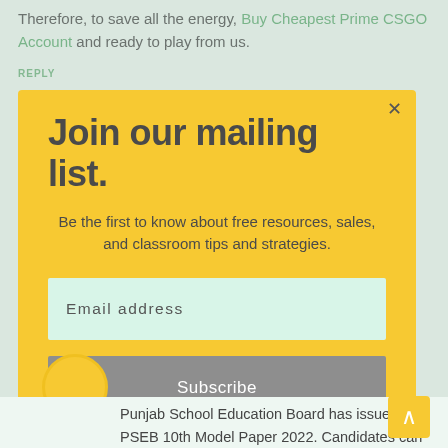Therefore, to save all the energy, Buy Cheapest Prime CSGO Account and ready to play from us.
REPLY
[Figure (screenshot): Modal popup with yellow background containing mailing list signup form with title 'Join our mailing list.', description text, email input field, and Subscribe button.]
Join our mailing list.
Be the first to know about free resources, sales, and classroom tips and strategies.
Email address
Subscribe
Punjab School Education Board has issued the PSEB 10th Model Paper 2022. Candidates can